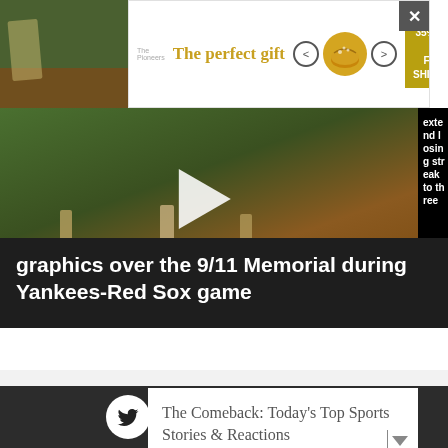[Figure (screenshot): Advertisement banner for The Pioneers showing 'The perfect gift' with food bowl image, navigation arrows, and '35% OFF + FREE SHIPPING' offer badge]
[Figure (screenshot): Video thumbnail of a baseball game with play button overlay and scoreboard at bottom, partially visible black panel on right with text 'extend losing streak to three']
graphics over the 9/11 Memorial during Yankees-Red Sox game
[Figure (screenshot): Dark footer with social media icons: Twitter, Facebook, Instagram, RSS feed in white circles on dark background]
The Comeback: Today's Top Sports Stories & Reactions